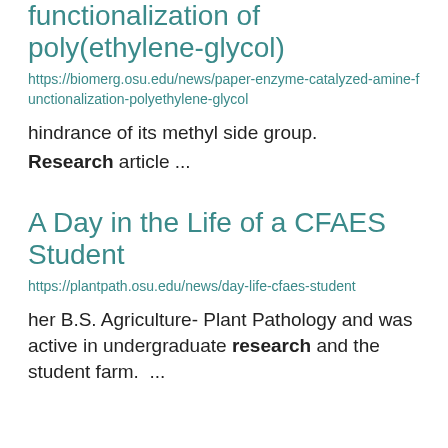functionalization of poly(ethylene-glycol)
https://biomerg.osu.edu/news/paper-enzyme-catalyzed-amine-functionalization-polyethylene-glycol
hindrance of its methyl side group.
Research article ...
A Day in the Life of a CFAES Student
https://plantpath.osu.edu/news/day-life-cfaes-student
her B.S. Agriculture- Plant Pathology and was active in undergraduate research and the student farm.  ...